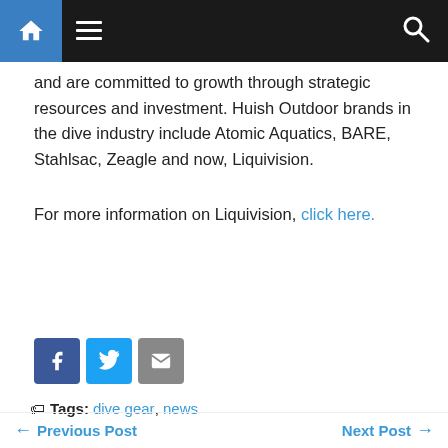Navigation bar with home, menu, and search icons
and are committed to growth through strategic resources and investment. Huish Outdoor brands in the dive industry include Atomic Aquatics, BARE, Stahlsac, Zeagle and now, Liquivision.
For more information on Liquivision, click here.
[Figure (other): Social share buttons: Facebook (blue), Twitter (light blue), Email (gray)]
Tags: dive gear, news
← Previous Post    Next Post →